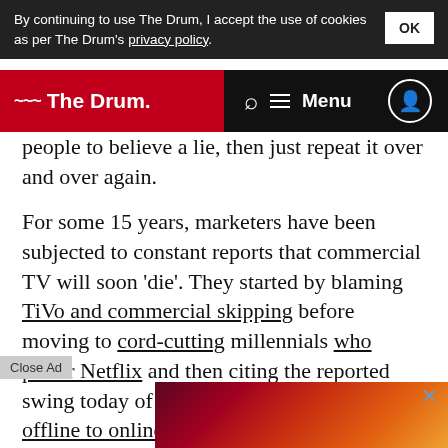By continuing to use The Drum, I accept the use of cookies as per The Drum's privacy policy.
The Drum — Menu
people to believe a lie, then just repeat it over and over again.
For some 15 years, marketers have been subjected to constant reports that commercial TV will soon 'die'. They started by blaming TiVo and commercial skipping before moving to cord-cutting millennials who prefer Netflix and then citing the reported swing today of advertising dollars from offline to online. Call me crazy, but ad-supported television still seems to be around. Something does not add up.
In the [obscured by ad] en yet [obscured]
[Figure (screenshot): Advertisement overlay with close button, showing a gradient image of abstract reddish-orange swirls]